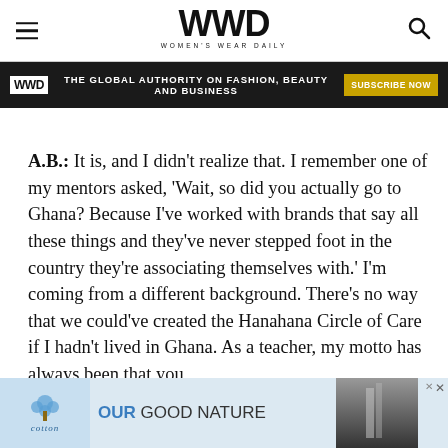WWD — WOMEN'S WEAR DAILY
[Figure (logo): WWD advertisement banner: THE GLOBAL AUTHORITY ON FASHION, BEAUTY AND BUSINESS — SUBSCRIBE NOW]
A.B.: It is, and I didn't realize that. I remember one of my mentors asked, 'Wait, so did you actually go to Ghana? Because I've worked with brands that say all these things and they've never stepped foot in the country they're associating themselves with.' I'm coming from a different background. There's no way that we could've created the Hanahana Circle of Care if I hadn't lived in Ghana. As a teacher, my motto has always been that you
[Figure (advertisement): Cotton advertisement: OUR GOOD NATURE — cotton logo with waterfall background image]